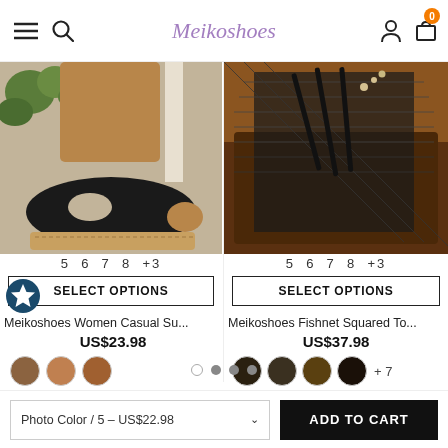Meikoshoes
[Figure (photo): Black women's casual slip-on sandal/mule with cutout design and cork sole, photographed outdoors on tan pavement with plants in background]
5  6  7  8  +3
SELECT OPTIONS
Meikoshoes Women Casual Su...
US$23.98
[Figure (photo): Black fishnet squared toe heeled sandals with straps, photographed in a dark interior car setting]
5  6  7  8  +3
SELECT OPTIONS
Meikoshoes Fishnet Squared To...
US$37.98
+ 7
Photo Color / 5 – US$22.98
ADD TO CART